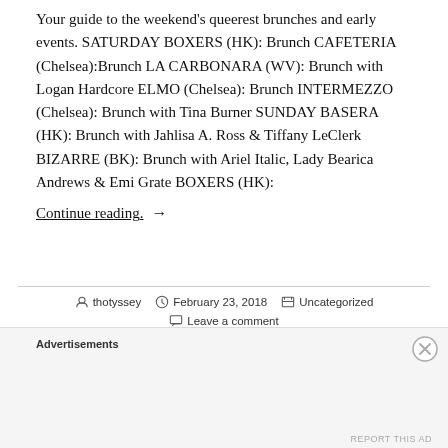Your guide to the weekend's queerest brunches and early events. SATURDAY BOXERS (HK): Brunch CAFETERIA (Chelsea):Brunch LA CARBONARA (WV): Brunch with Logan Hardcore ELMO (Chelsea): Brunch INTERMEZZO (Chelsea): Brunch with Tina Burner SUNDAY BASERA (HK): Brunch with Jahlisa A. Ross & Tiffany LeClerk BIZARRE (BK): Brunch with Ariel Italic, Lady Bearica Andrews & Emi Grate BOXERS (HK):
Continue reading. →
By thotyssey  February 23, 2018  Uncategorized  Leave a comment
Advertisements